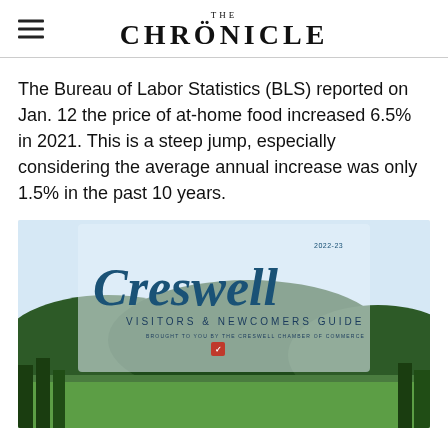THE CHRONICLE
The Bureau of Labor Statistics (BLS) reported on Jan. 12 the price of at-home food increased 6.5% in 2021. This is a steep jump, especially considering the average annual increase was only 1.5% in the past 10 years.
[Figure (photo): Creswell Visitors & Newcomers Guide 2022-23 cover, brought to you by the Creswell Chamber of Commerce, showing the town with green hills and trees in the background under a light sky.]